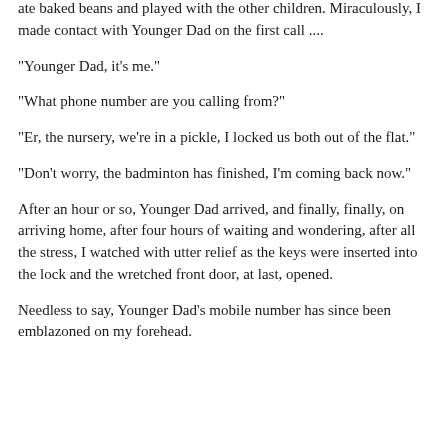ate baked beans and played with the other children. Miraculously, I made contact with Younger Dad on the first call ....
"Younger Dad, it's me."
"What phone number are you calling from?"
"Er, the nursery, we're in a pickle, I locked us both out of the flat."
"Don't worry, the badminton has finished, I'm coming back now."
After an hour or so, Younger Dad arrived, and finally, finally, on arriving home, after four hours of waiting and wondering, after all the stress, I watched with utter relief as the keys were inserted into the lock and the wretched front door, at last, opened.
Needless to say, Younger Dad's mobile number has since been emblazoned on my forehead.